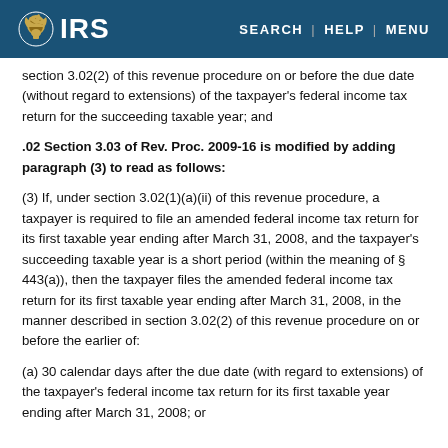IRS | SEARCH | HELP | MENU
section 3.02(2) of this revenue procedure on or before the due date (without regard to extensions) of the taxpayer's federal income tax return for the succeeding taxable year; and
.02 Section 3.03 of Rev. Proc. 2009-16 is modified by adding paragraph (3) to read as follows:
(3) If, under section 3.02(1)(a)(ii) of this revenue procedure, a taxpayer is required to file an amended federal income tax return for its first taxable year ending after March 31, 2008, and the taxpayer's succeeding taxable year is a short period (within the meaning of § 443(a)), then the taxpayer files the amended federal income tax return for its first taxable year ending after March 31, 2008, in the manner described in section 3.02(2) of this revenue procedure on or before the earlier of:
(a) 30 calendar days after the due date (with regard to extensions) of the taxpayer's federal income tax return for its first taxable year ending after March 31, 2008; or